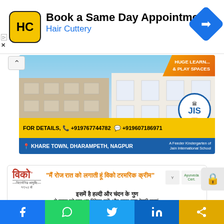[Figure (infographic): Hair Cuttery advertisement banner: 'Book a Same Day Appointment' with HC logo on yellow background and navigation arrow icon]
[Figure (infographic): JIS (Jain International School Kindergarten) ad showing building render with contact details: +919767744782, +919607186971, location: Khare Town, Dharampeth, Nagpur. Text: HUGE LEARNING & PLAY SPACES]
[Figure (infographic): Vico Turmeric Cream advertisement in Hindi: 'main roj raat ko lagati hun vico turmeric cream', 'isme hai haldi aur chandan ke gun', 'ye twacha ko raat bhar repair kare aur subah tak healthy banae']
[Figure (infographic): Social media share bar with Facebook, WhatsApp, Twitter, LinkedIn, and share icons]